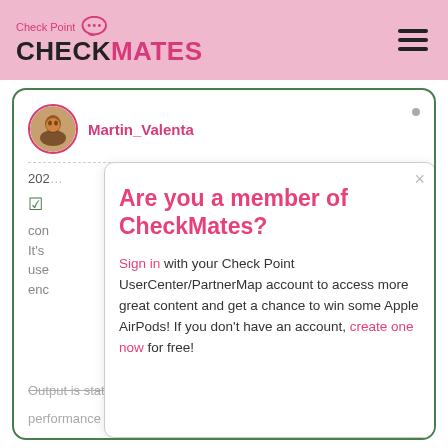Check Point CHECKMATES
[Figure (screenshot): CheckMates community forum post by Martin_Valenta with a modal dialog overlay asking 'Are you a member of CheckMates?' with sign-in and account creation options]
Are you a member of CheckMates?
Sign in with your Check Point UserCenter/PartnerMap account to access more great content and get a chance to win some Apple AirPods! If you don't have an account, create one now for free!
Output is state of each VS and also it's printing performance data for graphing.